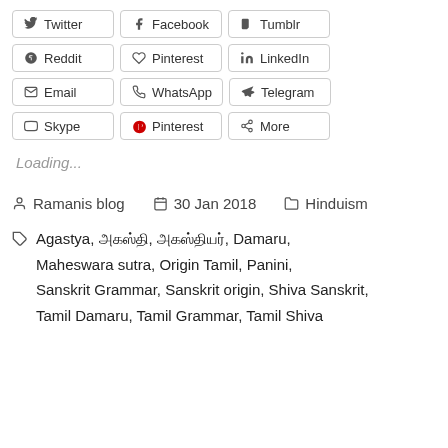[Figure (other): Row of social media share buttons: Twitter, Facebook, Tumblr, Reddit, Pinterest, LinkedIn, Email, WhatsApp, Telegram, Skype, Pinterest, More]
Loading...
Ramanis blog   30 Jan 2018   Hinduism
Agastya, அகஸ்தி, அகஸ்தியர், Damaru, Maheswara sutra, Origin Tamil, Panini, Sanskrit Grammar, Sanskrit origin, Shiva Sanskrit, Tamil Damaru, Tamil Grammar, Tamil Shiva